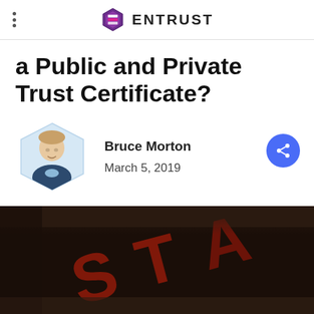ENTRUST
a Public and Private Trust Certificate?
Bruce Morton
March 5, 2019
[Figure (photo): Close-up photo of a dark object with red embossed letters, partially visible text reading 'STA' or similar, blurred background]